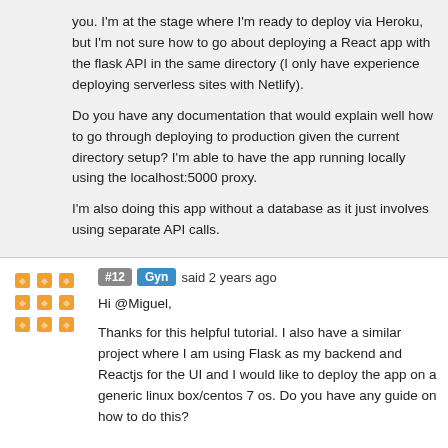you. I'm at the stage where I'm ready to deploy via Heroku, but I'm not sure how to go about deploying a React app with the flask API in the same directory (I only have experience deploying serverless sites with Netlify).
Do you have any documentation that would explain well how to go through deploying to production given the current directory setup? I'm able to have the app running locally using the localhost:5000 proxy.
I'm also doing this app without a database as it just involves using separate API calls.
#12 Gyn said 2 years ago
Hi @Miguel,
Thanks for this helpful tutorial. I also have a similar project where I am using Flask as my backend and Reactjs for the UI and I would like to deploy the app on a generic linux box/centos 7 os. Do you have any guide on how to do this?